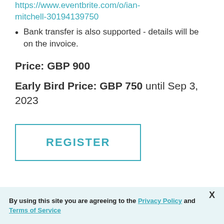https://www.eventbrite.com/o/ian-mitchell-30194139750
Bank transfer is also supported - details will be on the invoice.
Price: GBP 900
Early Bird Price: GBP 750 until Sep 3, 2023
REGISTER
By using this site you are agreeing to the Privacy Policy and Terms of Service